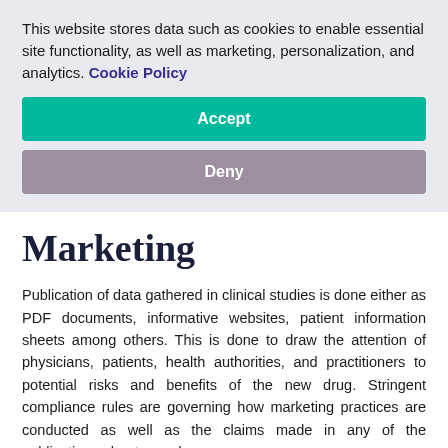This website stores data such as cookies to enable essential site functionality, as well as marketing, personalization, and analytics. Cookie Policy
Accept
Deny
Marketing
Publication of data gathered in clinical studies is done either as PDF documents, informative websites, patient information sheets among others. This is done to draw the attention of physicians, patients, health authorities, and practitioners to potential risks and benefits of the new drug. Stringent compliance rules are governing how marketing practices are conducted as well as the claims made in any of the publications about new drugs.
After data has been submitted to all necessary regulatory...